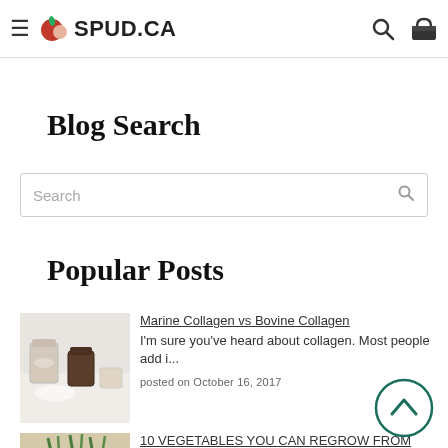SPUD.CA
Blog Search
Search
Popular Posts
[Figure (photo): Collagen powder and ingredients photo]
Marine Collagen vs Bovine Collagen
I'm sure you've heard about collagen. Most people add i...
posted on October 16, 2017
[Figure (photo): Vegetables and onions in a bowl photo]
10 VEGETABLES YOU CAN REGROW FROM SCRAP
For those of us who live in an apartment or without a y...